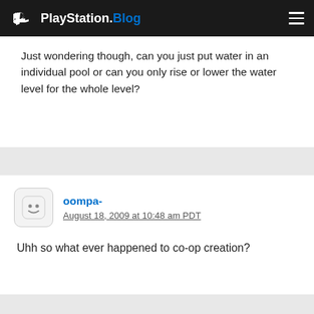PlayStation.Blog
Just wondering though, can you just put water in an individual pool or can you only rise or lower the water level for the whole level?
oompa-
August 18, 2009 at 10:48 am PDT

Uhh so what ever happened to co-op creation?